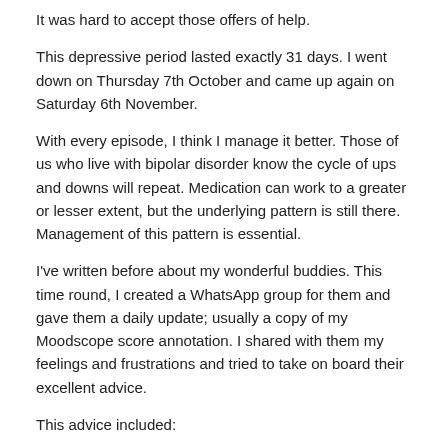It was hard to accept those offers of help.
This depressive period lasted exactly 31 days. I went down on Thursday 7th October and came up again on Saturday 6th November.
With every episode, I think I manage it better. Those of us who live with bipolar disorder know the cycle of ups and downs will repeat. Medication can work to a greater or lesser extent, but the underlying pattern is still there. Management of this pattern is essential.
I've written before about my wonderful buddies. This time round, I created a WhatsApp group for them and gave them a daily update; usually a copy of my Moodscope score annotation. I shared with them my feelings and frustrations and tried to take on board their excellent advice.
This advice included:
- Cancel or postpone all business and social appointments.
- Don't clean (and don't feel guilty about it).
- Don't iron (and don't feel guilty about it).
- Get the groceries delivered and order in ready meals so you don't